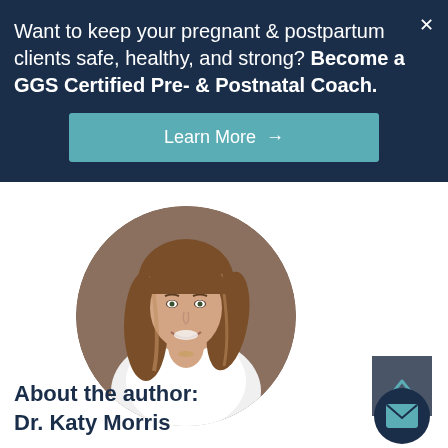Want to keep your pregnant & postpartum clients safe, healthy, and strong? Become a GGS Certified Pre- & Postnatal Coach.
Learn More →
[Figure (photo): Circular portrait photo of Dr. Katy Morris, a woman with long brown hair wearing a white coat, smiling against a brown background.]
About the author:
Dr. Katy Morris